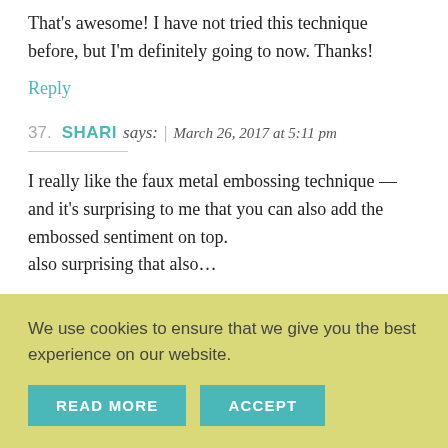That's awesome! I have not tried this technique before, but I'm definitely going to now. Thanks!
Reply
37. SHARI says: | March 26, 2017 at 5:11 pm
I really like the faux metal embossing technique — and it's surprising to me that you can also add the embossed sentiment on top.
We use cookies to ensure that we give you the best experience on our website.
READ MORE
ACCEPT